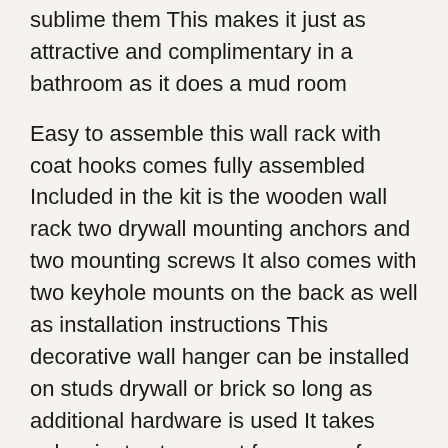sublime them This makes it just as attractive and complimentary in a bathroom as it does a mud room
Easy to assemble this wall rack with coat hooks comes fully assembled Included in the kit is the wooden wall rack two drywall mounting anchors and two mounting screws It also comes with two keyhole mounts on the back as well as installation instructions This decorative wall hanger can be installed on studs drywall or brick so long as additional hardware is used It takes only minutes to mount for years of service
The eden co promise of satisfaction every detail of this board with hooks was meticulously designed to provide years of use and decoration for you and your family Customer service and satisfaction is paramount to us if for some reason you are unhappy or there is a malfunction please contact us We will gladly replace or